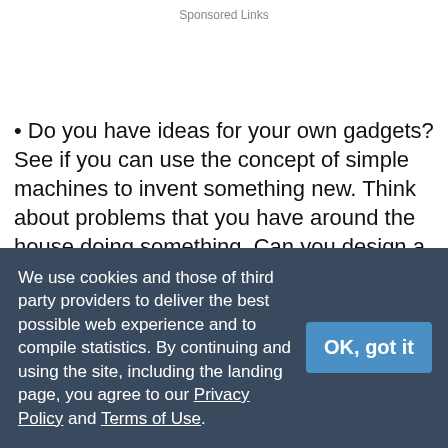Sponsored Links
• Do you have ideas for your own gadgets? See if you can use the concept of simple machines to invent something new. Think about problems that you have around the house doing something. Can you design a machine to do it for you? Again, a good mechanical drawing is important for communicating your idea. You should also build a prototype.
• Can you design a useless invention? A famous cartoonist
We use cookies and those of third party providers to deliver the best possible web experience and to compile statistics. By continuing and using the site, including the landing page, you agree to our Privacy Policy and Terms of Use.